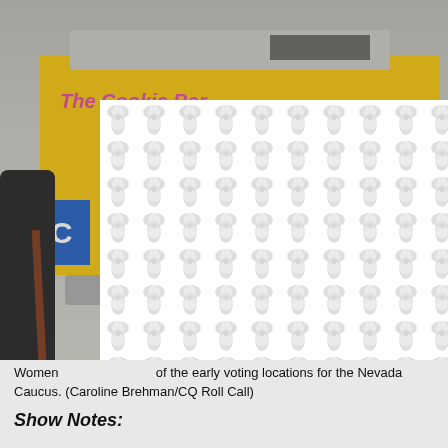[Figure (photo): Photograph of a yellow food truck labeled 'The Cookie Bar' with a 'TC' blue campaign sign visible, a menu board on the right, parked at what appears to be a Nevada Caucus early voting location. A person with a bag is partially visible in the foreground. A white modal/dialog box with a decorative peanut/bubble pattern overlays much of the image, with an X close button in the upper right of the modal.]
Women [partially obscured] president[ially obscured]e of the early voting locations for the Nevada Caucus. (Caroline Brehman/CQ Roll Call)
Show Notes: